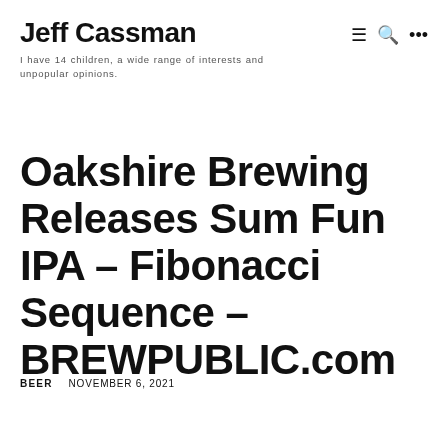Jeff Cassman
I have 14 children, a wide range of interests and unpopular opinions.
Oakshire Brewing Releases Sum Fun IPA – Fibonacci Sequence – BREWPUBLIC.com
BEER   NOVEMBER 6, 2021